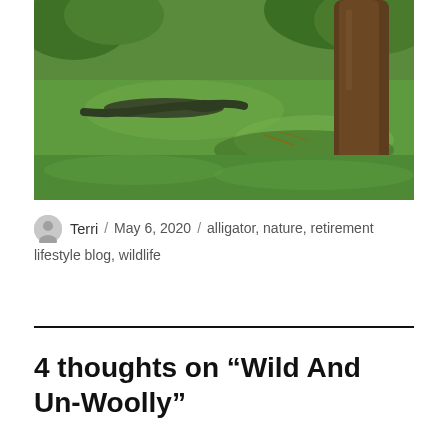[Figure (photo): Outdoor photo of a green grassy lawn with a large tree trunk on the right side, bushes and foliage in the background, and an alligator lying on the grass near the tree.]
Terri / May 6, 2020 / alligator, nature, retirement lifestyle blog, wildlife
4 thoughts on “Wild And Un-Woolly”